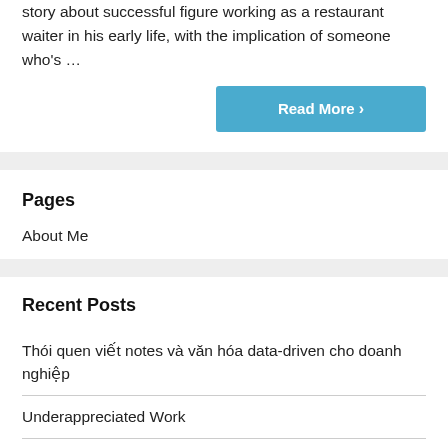story about successful figure working as a restaurant waiter in his early life, with the implication of someone who's …
Read More ›
Pages
About Me
Recent Posts
Thói quen viết notes và văn hóa data-driven cho doanh nghiệp
Underappreciated Work
The fear of losing things you earn